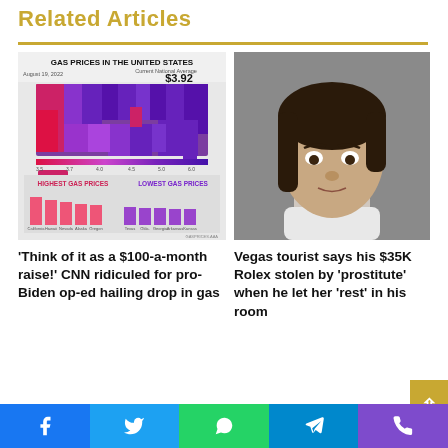Related Articles
[Figure (map): Gas Prices in the United States infographic showing a color-coded US map with highest and lowest gas prices bar chart. August 19, 2022. Current National Average: $3.92]
[Figure (photo): Mugshot-style photo of a young woman with dark hair against a gray background]
'Think of it as a $100-a-month raise!' CNN ridiculed for pro-Biden op-ed hailing drop in gas
Vegas tourist says his $35K Rolex stolen by 'prostitute' when he let her 'rest' in his room